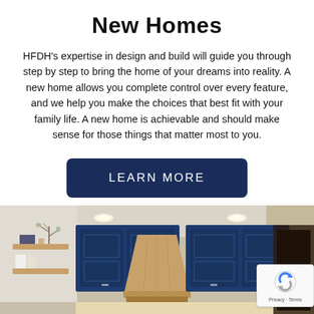New Homes
HFDH's expertise in design and build will guide you through step by step to bring the home of your dreams into reality. A new home allows you complete control over every feature, and we help you make the choices that best fit with your family life. A new home is achievable and should make sense for those things that matter most to you.
[Figure (other): Dark navy blue call-to-action button with text LEARN MORE in white uppercase letters]
[Figure (photo): Interior kitchen photo showing navy blue cabinetry with a wooden range hood in the center, floating wooden shelves on the left side, and recessed ceiling lights]